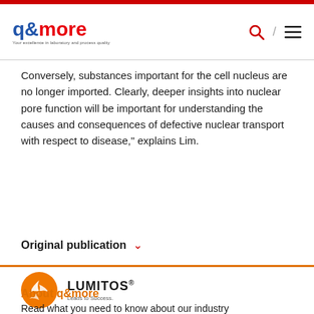q&more
Conversely, substances important for the cell nucleus are no longer imported. Clearly, deeper insights into nuclear pore function will be important for understanding the causes and consequences of defective nuclear transport with respect to disease," explains Lim.
Original publication
[Figure (logo): LUMITOS logo - orange circle with bird graphic, text 'LUMITOS Leads to Success.']
About q&more
Read what you need to know about our industry